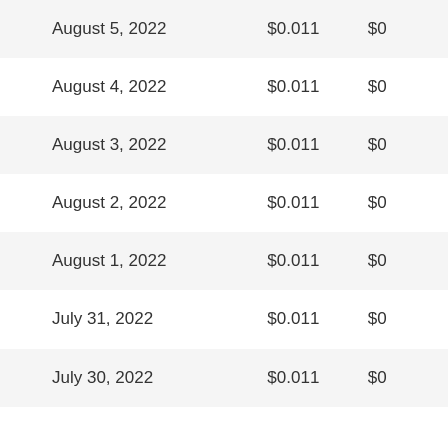| August 5, 2022 | $0.011 | $0 |
| August 4, 2022 | $0.011 | $0 |
| August 3, 2022 | $0.011 | $0 |
| August 2, 2022 | $0.011 | $0 |
| August 1, 2022 | $0.011 | $0 |
| July 31, 2022 | $0.011 | $0 |
| July 30, 2022 | $0.011 | $0 |